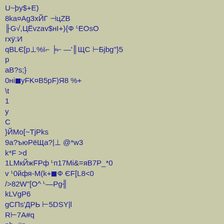U~þy$+E)
8ka¤Ag3xЙГ ⊣цZB
╟G√,ЦЁvzav$нI+){Ф ᴸEOsO
rxÿ:И
qBLЄ[p⊥%ï⌐ ╞⌐ —'║ЩC ⊢БjbG"}5
p
aB?s;}
0нi■yFK¤B5pF)Я8 %+
\t
1
y
C
}ЙМo[~TjPks
9а?ъюРёЩа?|⊥ @*w3
k*F >d
1LМкЙжFРф ᴸп17Мi&=яB7P_*0
v ᴸ0йфя-M(k+■Ф ЄF[L8<0
/>82W"[O^ ᴸ—Pg╢
kLVgP6
gСПs'ДРЬ ⊢5DSY|l
R⊢7A#q
nb.,#n
h(l"d7
^
~K
M
FE`T║z%⊣ хяïшr:{QE9
|М■